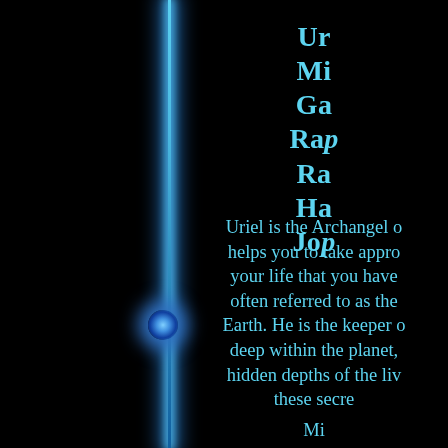Ur
Mi
Ga
Ra
Ra
Ha
Jo
Uriel is the Archangel o helps you to take appro your life that you have often referred to as the Earth. He is the keeper o deep within the planet, hidden depths of the liv these secre
Mi